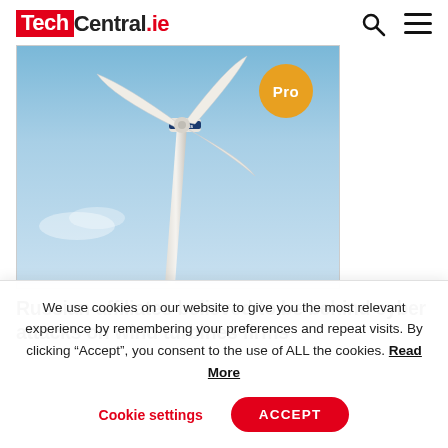TechCentral.ie
[Figure (photo): Wind turbine (Vestas branded) photographed from below against a blue sky, with a 'Pro' badge overlay in orange.]
Russian-affiliates believed to be behind cyber attacks on wind turbines firms
We use cookies on our website to give you the most relevant experience by remembering your preferences and repeat visits. By clicking “Accept”, you consent to the use of ALL the cookies. Read More
Cookie settings   ACCEPT